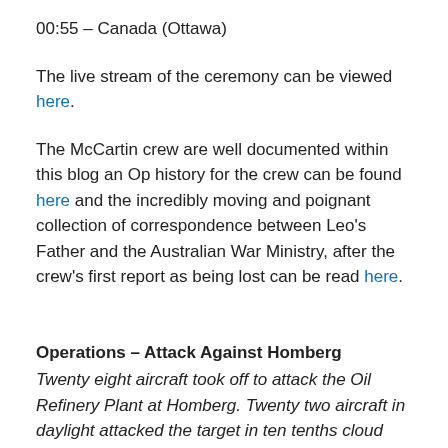00:55 – Canada (Ottawa)
The live stream of the ceremony can be viewed here.
The McCartin crew are well documented within this blog an Op history for the crew can be found here and the incredibly moving and poignant collection of correspondence between Leo's Father and the Australian War Ministry, after the crew's first report as being lost can be read here.
Operations – Attack Against Homberg
Twenty eight aircraft took off to attack the Oil Refinery Plant at Homberg. Twenty two aircraft in daylight attacked the target in ten tenths cloud with tops at 23,000 ft, which made formation flying very difficult. They carried 4,000 lb